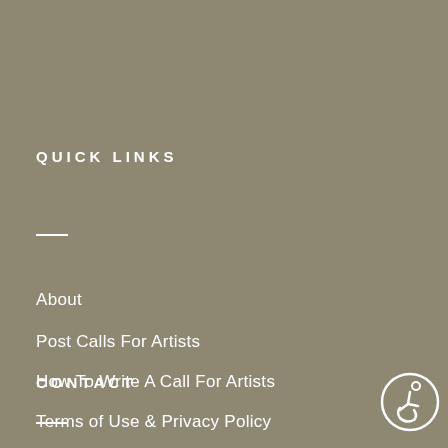QUICK LINKS
About
Post Calls For Artists
How To Write A Call For Artists
Terms of Use & Privacy Policy
Site Map
CONTACT
[Figure (illustration): Wheelchair accessibility icon, circular outline with stylized person in wheelchair]